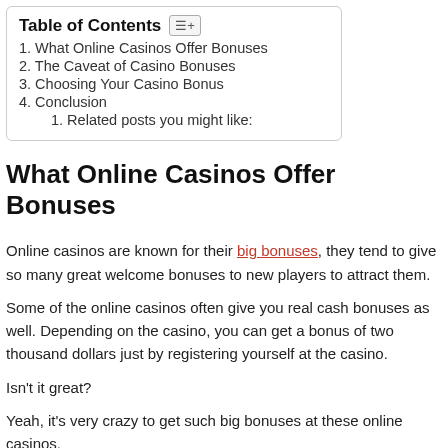Table of Contents
1. What Online Casinos Offer Bonuses
2. The Caveat of Casino Bonuses
3. Choosing Your Casino Bonus
4. Conclusion
1. Related posts you might like:
What Online Casinos Offer Bonuses
Online casinos are known for their big bonuses, they tend to give so many great welcome bonuses to new players to attract them.
Some of the online casinos often give you real cash bonuses as well. Depending on the casino, you can get a bonus of two thousand dollars just by registering yourself at the casino.
Isn't it great?
Yeah, it's very crazy to get such big bonuses at these online casinos.